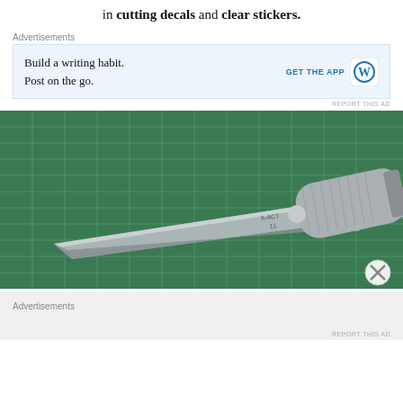in cutting decals and clear stickers.
Advertisements
[Figure (screenshot): Advertisement banner for WordPress app: 'Build a writing habit. Post on the go.' with GET THE APP button and WordPress logo]
REPORT THIS AD
[Figure (photo): Close-up photograph of a craft knife (X-Acto #11 blade) resting on a green self-healing cutting mat with grid lines]
Advertisements
REPORT THIS AD